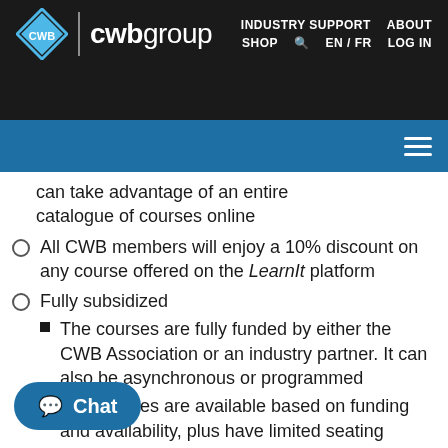CWB Group — INDUSTRY SUPPORT | ABOUT | SHOP | EN/FR | LOG IN
can take advantage of an entire catalogue of courses online
All CWB members will enjoy a 10% discount on any course offered on the LearnIt platform
Fully subsidized
The courses are fully funded by either the CWB Association or an industry partner. It can also be asynchronous or programmed
The courses are available based on funding and availability, plus have limited seating
External and internal partners can fund the courses for public and internal use to increase access.